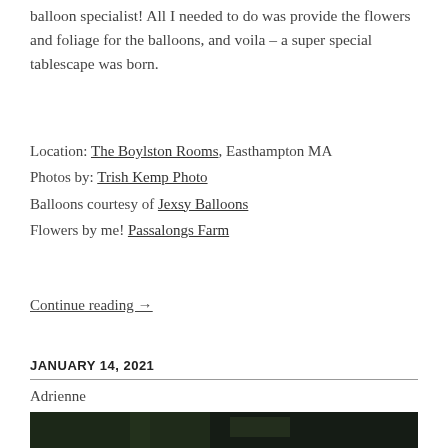balloon specialist! All I needed to do was provide the flowers and foliage for the balloons, and voila – a super special tablescape was born.
Location: The Boylston Rooms, Easthampton MA
Photos by: Trish Kemp Photo
Balloons courtesy of Jexsy Balloons
Flowers by me! Passalongs Farm
Continue reading →
JANUARY 14, 2021
Adrienne
[Figure (photo): Dark photo strip at bottom of page, partially visible]